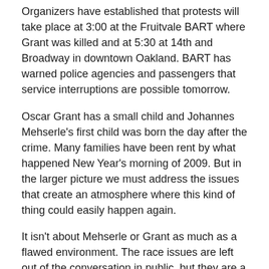Organizers have established that protests will take place at 3:00 at the Fruitvale BART where Grant was killed and at 5:30 at 14th and Broadway in downtown Oakland. BART has warned police agencies and passengers that service interruptions are possible tomorrow.
Oscar Grant has a small child and Johannes Mehserle's first child was born the day after the crime. Many families have been rent by what happened New Year's morning of 2009. But in the larger picture we must address the issues that create an atmosphere where this kind of thing could easily happen again.
It isn't about Mehserle or Grant as much as a flawed environment. The race issues are left out of the conversation in public, but they are a huge part of the word on the street. The issues here are systemic.